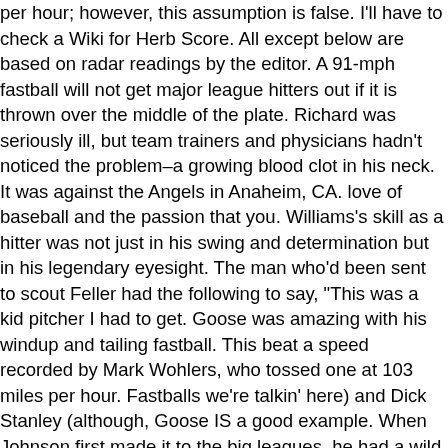per hour; however, this assumption is false. I'll have to check a Wiki for Herb Score. All except below are based on radar readings by the editor. A 91-mph fastball will not get major league hitters out if it is thrown over the middle of the plate. Richard was seriously ill, but team trainers and physicians hadn't noticed the problem–a growing blood clot in his neck. It was against the Angels in Anaheim, CA. love of baseball and the passion that you. Williams's skill as a hitter was not just in his swing and determination but in his legendary eyesight. The man who'd been sent to scout Feller had the following to say, "This was a kid pitcher I had to get. Goose was amazing with his windup and tailing fastball. This beat a speed recorded by Mark Wohlers, who tossed one at 103 miles per hour. Fastballs we're talkin' here) and Dick Stanley (although, Goose IS a good example. When Johnson first made it to the big leagues, he had a wild and long mullet, a big burly mustache, and he stomped around on the mound in a very angry manner. This is like the LLWS where ABC and ESPN